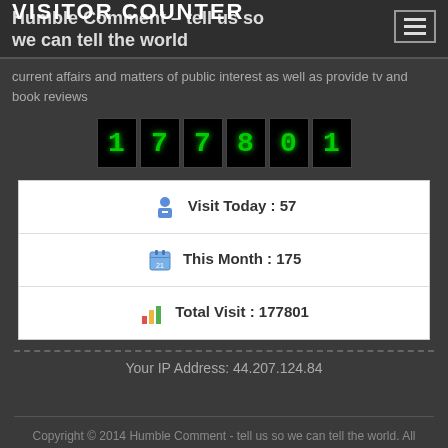Humble Comment – tell us so we can tell the world
VISITOR COUNTER
current affairs and matters of public interest as well as provide tv and book reviews
[Figure (other): Digital visitor counter display showing 177801 in green LED-style digits on black background]
| Visit Today : 57 |
| This Month : 175 |
| Total Visit : 177801 |
Your IP Address: 44.207.124.84
Copyright © 2014 Humble Comment - tell us so we can tell the world. All Rights Reserved. The Ward Pro Theme by bavotasan.com.